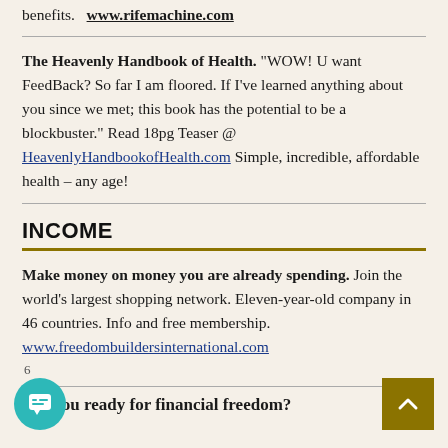benefits.   www.rifemachine.com
The Heavenly Handbook of Health. "WOW! U want FeedBack? So far I am floored. If I've learned anything about you since we met; this book has the potential to be a blockbuster." Read 18pg Teaser @ HeavenlyHandbookofHealth.com Simple, incredible, affordable health – any age!
INCOME
Make money on money you are already spending. Join the world's largest shopping network. Eleven-year-old company in 46 countries. Info and free membership. www.freedombuildersinternational.com
Are you ready for financial freedom?